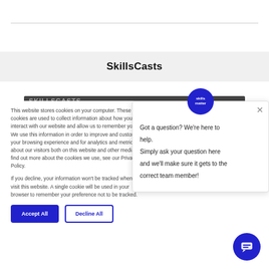SkillsCasts
This website stores cookies on your computer. These cookies are used to collect information about how you interact with our website and allow us to remember you. We use this information in order to improve and customise your browsing experience and for analytics and metrics about our visitors both on this website and other media. To find out more about the cookies we use, see our Privacy Policy.
If you decline, your information won't be tracked when you visit this website. A single cookie will be used in your browser to remember your preference not to be tracked.
Got a question? We're here to help.
Simply ask your question here and we'll make sure it gets to the correct team member!